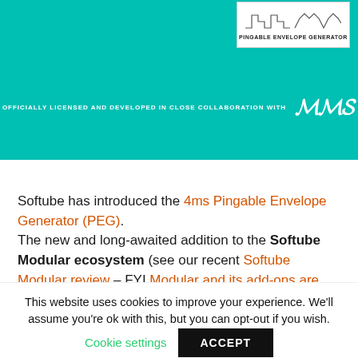[Figure (screenshot): Teal/turquoise banner showing a 4ms Pingable Envelope Generator module image on the right, and text 'OFFICIALLY LICENSED AND DEVELOPED IN CLOSE COLLABORATION WITH' followed by the 4ms logo on the bottom. A teal downward-pointing arrow/chevron at the bottom left.]
Softube has introduced the 4ms Pingable Envelope Generator (PEG). The new and long-awaited addition to the Softube Modular ecosystem (see our recent Softube Modular review – FYI Modular and its add-ons are currently on sale!), opens up a vast array of possibilities beyond
This website uses cookies to improve your experience. We'll assume you're ok with this, but you can opt-out if you wish.
Cookie settings
ACCEPT